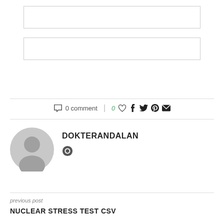[Figure (screenshot): Two empty input form fields with light gray borders]
0 comment | 0 ♡ f 𝕏 ⓟ ✉
DOKTERANDALAN
[Figure (illustration): Gray circular avatar/profile placeholder icon]
[Figure (illustration): Small heart/like icon next to author name]
previous post
NUCLEAR STRESS TEST CSV